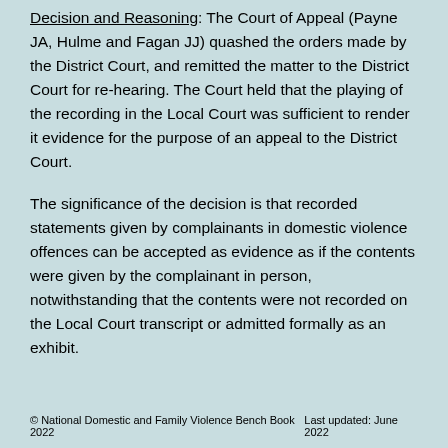Decision and Reasoning: The Court of Appeal (Payne JA, Hulme and Fagan JJ) quashed the orders made by the District Court, and remitted the matter to the District Court for re-hearing. The Court held that the playing of the recording in the Local Court was sufficient to render it evidence for the purpose of an appeal to the District Court.
The significance of the decision is that recorded statements given by complainants in domestic violence offences can be accepted as evidence as if the contents were given by the complainant in person, notwithstanding that the contents were not recorded on the Local Court transcript or admitted formally as an exhibit.
© National Domestic and Family Violence Bench Book 2022    Last updated: June 2022